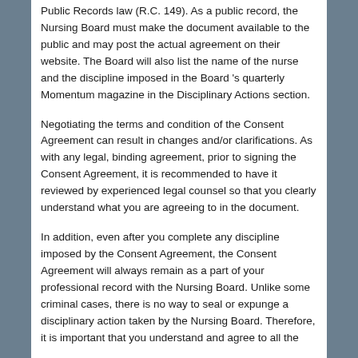Public Records law (R.C. 149). As a public record, the Nursing Board must make the document available to the public and may post the actual agreement on their website. The Board will also list the name of the nurse and the discipline imposed in the Board 's quarterly Momentum magazine in the Disciplinary Actions section.
Negotiating the terms and condition of the Consent Agreement can result in changes and/or clarifications. As with any legal, binding agreement, prior to signing the Consent Agreement, it is recommended to have it reviewed by experienced legal counsel so that you clearly understand what you are agreeing to in the document.
In addition, even after you complete any discipline imposed by the Consent Agreement, the Consent Agreement will always remain as a part of your professional record with the Nursing Board. Unlike some criminal cases, there is no way to seal or expunge a disciplinary action taken by the Nursing Board. Therefore, it is important that you understand and agree to all the